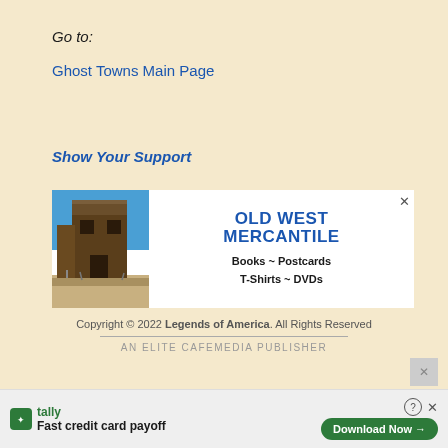Go to:
Ghost Towns Main Page
Show Your Support
[Figure (infographic): Old West Mercantile advertisement banner with photo of weathered wooden building and text: OLD WEST MERCANTILE, Books ~ Postcards, T-Shirts ~ DVDs]
Copyright © 2022 Legends of America. All Rights Reserved
AN ELITE CAFEMEDIA PUBLISHER
Fast credit card payoff
Download Now →